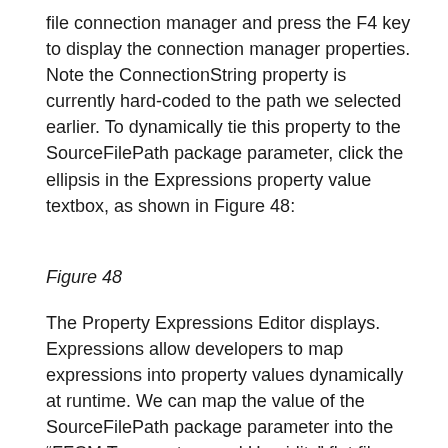file connection manager and press the F4 key to display the connection manager properties. Note the ConnectionString property is currently hard-coded to the path we selected earlier. To dynamically tie this property to the SourceFilePath package parameter, click the ellipsis in the Expressions property value textbox, as shown in Figure 48:
Figure 48
The Property Expressions Editor displays. Expressions allow developers to map expressions into property values dynamically at runtime. We can map the value of the SourceFilePath package parameter into the “FFCM Temperature and Humidity” flat file connection manager’s ConnectionString property by first selecting the